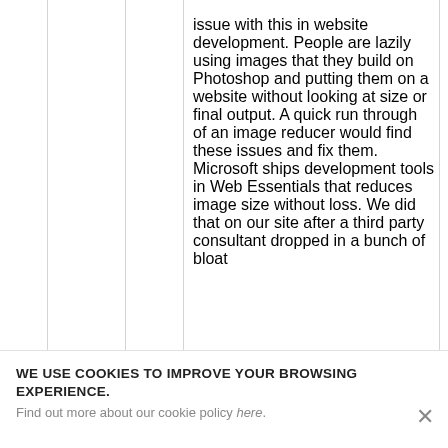issue with this in website development. People are lazily using images that they build on Photoshop and putting them on a website without looking at size or final output. A quick run through of an image reducer would find these issues and fix them. Microsoft ships development tools in Web Essentials that reduces image size without loss. We did that on our site after a third party consultant dropped in a bunch of bloat
WE USE COOKIES TO IMPROVE YOUR BROWSING EXPERIENCE. Find out more about our cookie policy here.